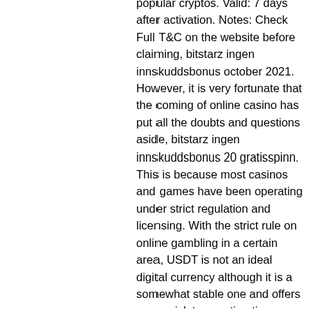popular cryptos. Valid: 7 days after activation. Notes: Check Full T&C on the website before claiming, bitstarz ingen innskuddsbonus october 2021. However, it is very fortunate that the coming of online casino has put all the doubts and questions aside, bitstarz ingen innskuddsbonus 20 gratisspinn. This is because most casinos and games have been operating under strict regulation and licensing. With the strict rule on online gambling in a certain area, USDT is not an ideal digital currency although it is a somewhat stable one and offers very quick transaction times. ZCash (ZEC) Anonymity is the main feature of ZCash as it allows punters to hide their transaction information such as where the crypto coin is coming from and who is receiving it, bitstarz ingen insättningsbonus code australia. Play in Bitcoin, (BTC), Bitcoin Cash (BCH), Ethereum (ETH), Dogecoin (DOGE), or Litecoin (LTC). These are the six best